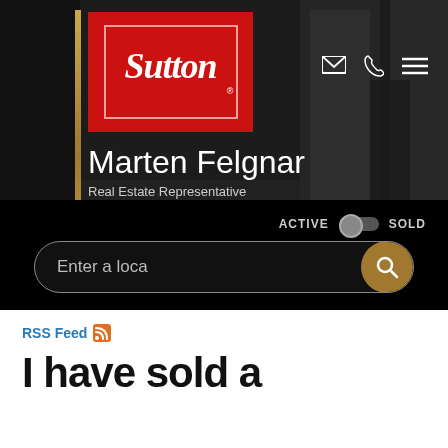[Figure (screenshot): Sutton real estate website header with logo, agent info, navigation icons, a property search bar with ACTIVE/SOLD toggle, and a dark interior room background image.]
RSS Feed
I have sold a